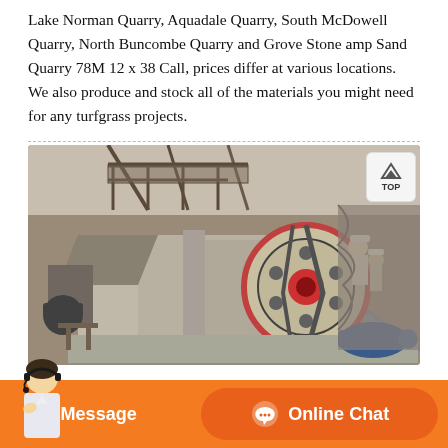Lake Norman Quarry, Aquadale Quarry, South McDowell Quarry, North Buncombe Quarry and Grove Stone amp Sand Quarry 78M 12 x 38 Call, prices differ at various locations. We also produce and stock all of the materials you might need for any turfgrass projects.
[Figure (photo): Industrial quarry crusher machine with large flywheel (cream/red), conveyor belts, scaffolding, and workers in hard hats visible in the background against a rocky quarry wall.]
Message
Online Chat